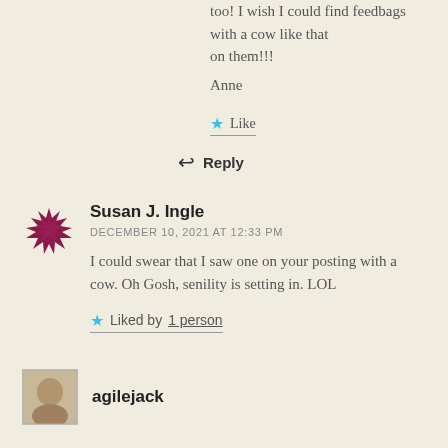too! I wish I could find feedbags with a cow like that on them!!!
Anne
Like
Reply
Susan J. Ingle
DECEMBER 10, 2021 AT 12:33 PM
I could swear that I saw one on your posting with a cow. Oh Gosh, senility is setting in. LOL
Liked by 1 person
agilejack